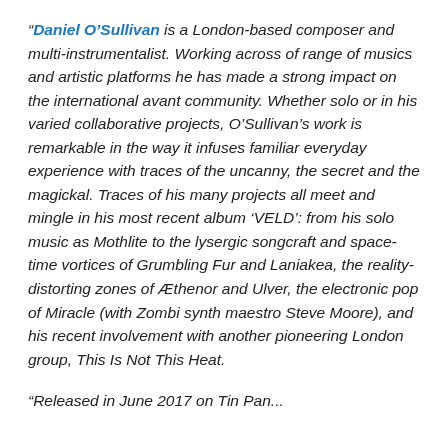“Daniel O’Sullivan is a London-based composer and multi-instrumentalist. Working across of range of musics and artistic platforms he has made a strong impact on the international avant community. Whether solo or in his varied collaborative projects, O’Sullivan’s work is remarkable in the way it infuses familiar everyday experience with traces of the uncanny, the secret and the magickal. Traces of his many projects all meet and mingle in his most recent album ‘VELD’: from his solo music as Mothlite to the lysergic songcraft and space-time vortices of Grumbling Fur and Laniakea, the reality-distorting zones of Æthenor and Ulver, the electronic pop of Miracle (with Zombi synth maestro Steve Moore), and his recent involvement with another pioneering London group, This Is Not This Heat.
“Released in June 2017 on Tin Pan...